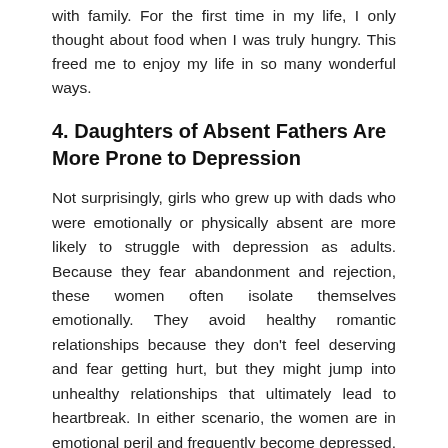with family. For the first time in my life, I only thought about food when I was truly hungry. This freed me to enjoy my life in so many wonderful ways.
4. Daughters of Absent Fathers Are More Prone to Depression
Not surprisingly, girls who grew up with dads who were emotionally or physically absent are more likely to struggle with depression as adults. Because they fear abandonment and rejection, these women often isolate themselves emotionally. They avoid healthy romantic relationships because they don't feel deserving and fear getting hurt, but they might jump into unhealthy relationships that ultimately lead to heartbreak. In either scenario, the women are in emotional peril and frequently become depressed. If they don't deal with the cause of their sadness—an absent dad—they may never be able to develop healthy relationships with men.